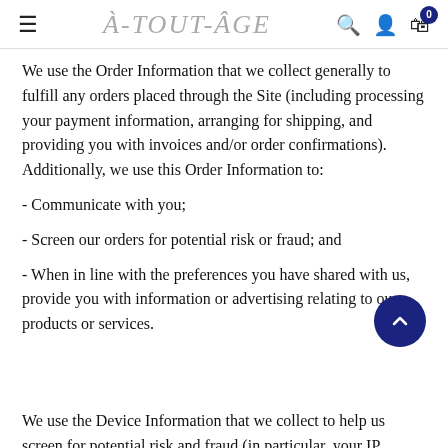À-TOUT-ÂGE
We use the Order Information that we collect generally to fulfill any orders placed through the Site (including processing your payment information, arranging for shipping, and providing you with invoices and/or order confirmations). Additionally, we use this Order Information to:
- Communicate with you;
- Screen our orders for potential risk or fraud; and
- When in line with the preferences you have shared with us, provide you with information or advertising relating to our products or services.
We use the Device Information that we collect to help us screen for potential risk and fraud (in particular, your IP